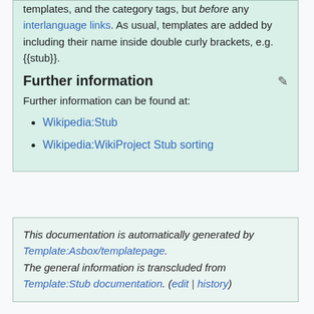templates, and the category tags, but before any interlanguage links. As usual, templates are added by including their name inside double curly brackets, e.g. {{stub}}.
Further information
Further information can be found at:
Wikipedia:Stub
Wikipedia:WikiProject Stub sorting
This documentation is automatically generated by Template:Asbox/templatepage. The general information is transcluded from Template:Stub documentation. (edit | history)